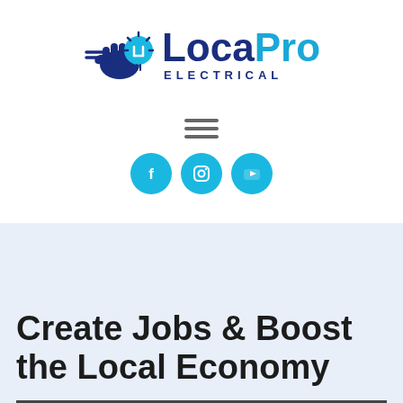[Figure (logo): LocaPro Electrical logo with electrical plug/bolt graphic on left and text 'LocaPro ELECTRICAL' on right]
[Figure (other): Hamburger menu icon (three horizontal lines)]
[Figure (other): Three social media icons: Facebook, Instagram, YouTube — cyan circles with white icons]
Create Jobs & Boost the Local Economy